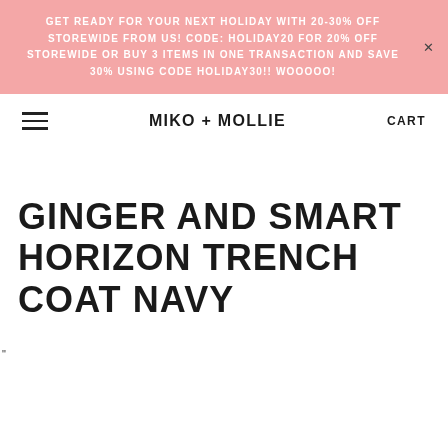GET READY FOR YOUR NEXT HOLIDAY WITH 20-30% OFF STOREWIDE FROM US! CODE: HOLIDAY20 FOR 20% OFF STOREWIDE OR BUY 3 ITEMS IN ONE TRANSACTION AND SAVE 30% USING CODE HOLIDAY30!! WOOOOO!
MIKO + MOLLIE
CART
GINGER AND SMART HORIZON TRENCH COAT NAVY